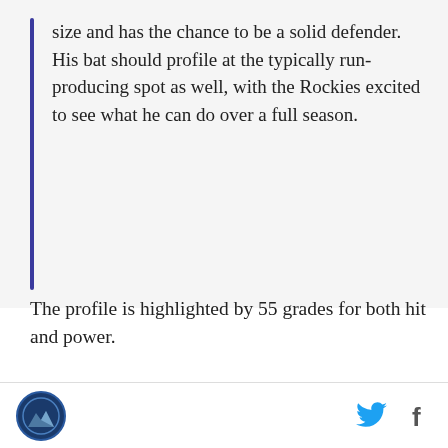size and has the chance to be a solid defender. His bat should profile at the typically run-producing spot as well, with the Rockies excited to see what he can do over a full season.
The profile is highlighted by 55 grades for both hit and power.
[Figure (other): Video advertisement with AD label in top right. Shows a young man standing in front of a building with blue tile windows. Play button overlay in center. Text reads 'Unfold your world'.]
Logo and social media icons (Twitter and Facebook)